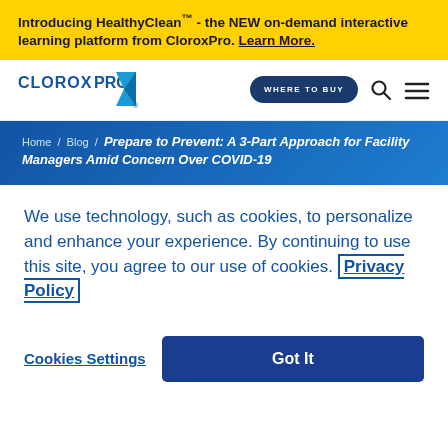Introducing HealthyClean™ - the NEW on-demand interactive learning platform from CloroxPro. Learn More.
[Figure (logo): CloroxPro logo with blue diamond shape and company name]
WHERE TO BUY
Home / Blog / Prepare to Prevent: A 3-Part Approach for Facility Managers Amid Concern Over COVID-19
We use technology, such as cookies, to personalize and enhance your experience. By continuing to use this site, you agree to our use of cookies. Privacy Policy
Cookies Settings
Got It